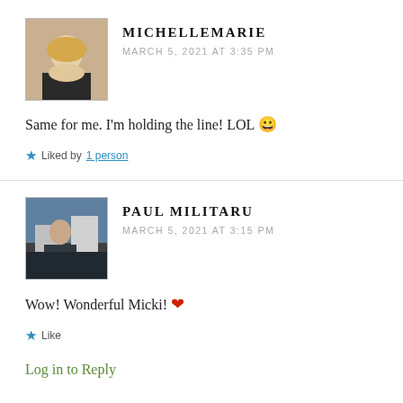[Figure (photo): Avatar photo of a blonde woman smiling, used as commenter profile picture for MichelleMarie]
MICHELLEMARIE
MARCH 5, 2021 AT 3:35 PM
Same for me. I'm holding the line! LOL 😀
★ Liked by 1 person
[Figure (photo): Avatar photo of a man standing outdoors in a mountainous European village, used as commenter profile picture for Paul Militaru]
PAUL MILITARU
MARCH 5, 2021 AT 3:15 PM
Wow! Wonderful Micki! ❤
★ Like
Log in to Reply